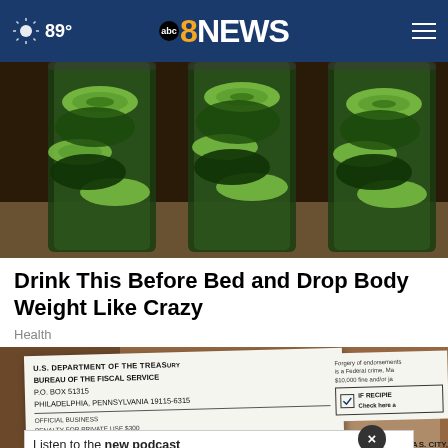89° abc8NEWS
[Figure (photo): Three glasses filled with cucumber slices and green leafy herbs/mint, sitting on a counter]
Drink This Before Bed and Drop Body Weight Like Crazy
Health
[Figure (photo): US Department of the Treasury Bureau of the Fiscal Service check/document partially visible, with an advertisement overlay reading 'Listen to the new podcast about adoption.' from Adopt US Kids]
JOHN OE_N STREET